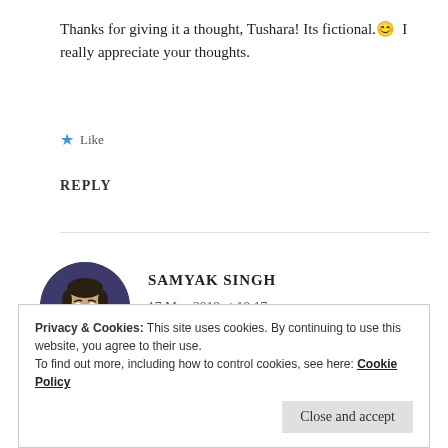Thanks for giving it a thought, Tushara! Its fictional.😊 I really appreciate your thoughts.
★ Like
REPLY
[Figure (photo): Circular avatar photo of Samyak Singh, a young man with beard, wearing a gray hoodie, against a dark purple background.]
SAMYAK SINGH
17 May 2019 at 10:17 pm
Privacy & Cookies: This site uses cookies. By continuing to use this website, you agree to their use.
To find out more, including how to control cookies, see here: Cookie Policy
Close and accept